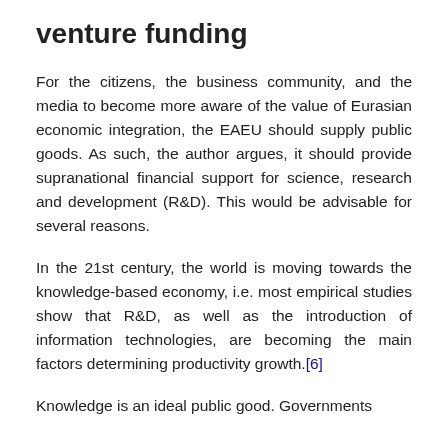venture funding
For the citizens, the business community, and the media to become more aware of the value of Eurasian economic integration, the EAEU should supply public goods. As such, the author argues, it should provide supranational financial support for science, research and development (R&D). This would be advisable for several reasons.
In the 21st century, the world is moving towards the knowledge-based economy, i.e. most empirical studies show that R&D, as well as the introduction of information technologies, are becoming the main factors determining productivity growth.[6]
Knowledge is an ideal public good. Governments